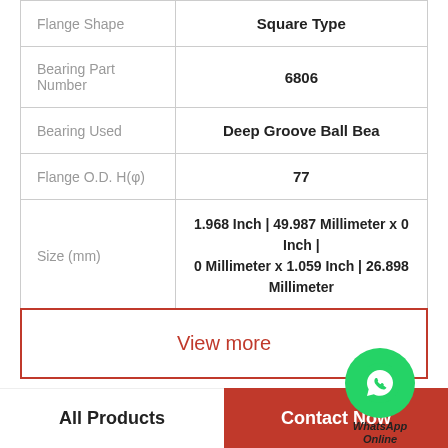| Property | Value |
| --- | --- |
| Flange Shape | Square Type |
| Bearing Part Number | 6806 |
| Bearing Used | Deep Groove Ball Bea |
| Flange O.D. H(φ) | 77 |
| Size (mm) | 1.968 Inch | 49.987 Millimeter x 0 Inch | 0 Millimeter x 1.059 Inch | 26.898 Millimeter |
View more
Company Profile
All Products
Contact Now